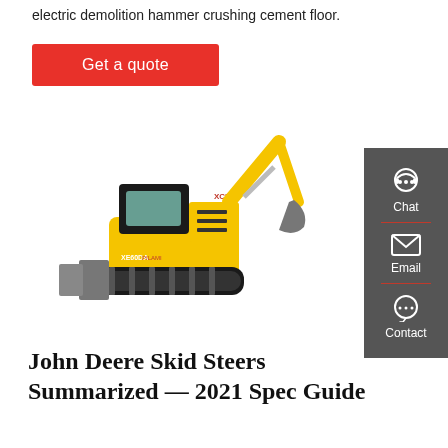electric demolition hammer crushing cement floor.
Get a quote
[Figure (photo): Yellow XCMG XE60DA mini excavator on white background, with bucket arm raised and blade lowered at front.]
[Figure (infographic): Sidebar with Chat, Email, and Contact icons on dark grey background with red dividers.]
John Deere Skid Steers Summarized — 2021 Spec Guide